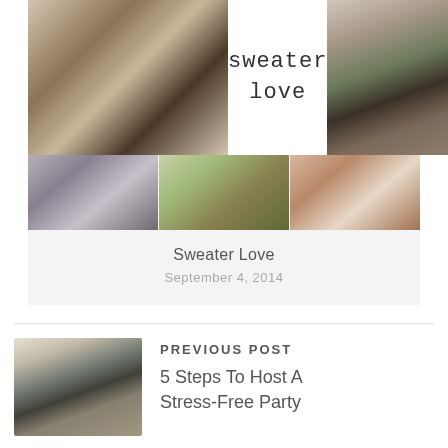[Figure (photo): Fashion blog card showing women in sweaters. Top row: left photo of woman in patterned cardigan with scarf and grey dress; center text 'sweater love'; right photo of woman in brown cardigan with black jeans outdoors. Bottom row: three photos of women in sweaters.]
Sweater Love
September 4, 2014
[Figure (photo): Overhead photo of food platters with charcuterie, cheeses, crackers and dips arranged in trays.]
PREVIOUS POST
5 Steps To Host A Stress-Free Party